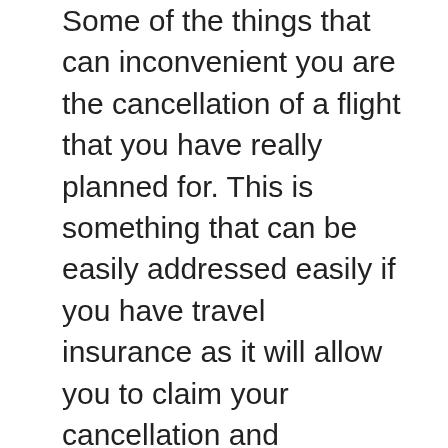Some of the things that can inconvenient you are the cancellation of a flight that you have really planned for. This is something that can be easily addressed easily if you have travel insurance as it will allow you to claim your cancellation and reschedule flight fees. As a result, you will not have to over budget and inconvenience your travel plan.
Travel insurance is important since they will cover you even in remote